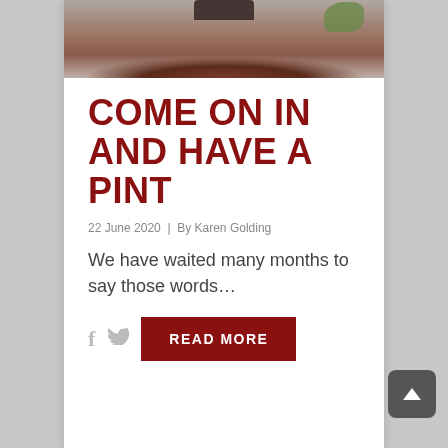[Figure (photo): Cropped photo showing top of a wooden barrel with green foliage in background]
COME ON IN AND HAVE A PINT
22 June 2020  |  By Karen Golding
We have waited many months to say those words…